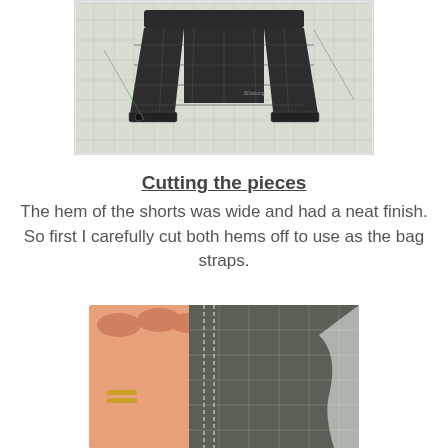[Figure (photo): Dark plaid shorts laid flat on a white grid cutting mat background]
Cutting the pieces
The hem of the shorts was wide and had a neat finish. So first I carefully cut both hems off to use as the bag straps.
[Figure (photo): Close-up of a hand holding a cut hem piece of dark plaid fabric showing the stitching]